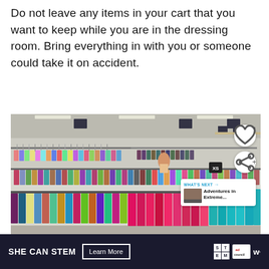Do not leave any items in your cart that you want to keep while you are in the dressing room. Bring everything in with you or someone could take it on accident.
[Figure (photo): Interior of a large thrift or department store showing multiple long clothing racks densely packed with colorful clothes on hangers. Size dividers labeled XS and XXS are visible. Social media UI overlays including a heart (favorite) button and share button are visible on the right side. A 'WHAT'S NEXT' thumbnail card shows 'Adventures in Extreme...' at bottom right.]
WHAT'S NEXT → Adventures in Extreme...
SHE CAN STEM   Learn More